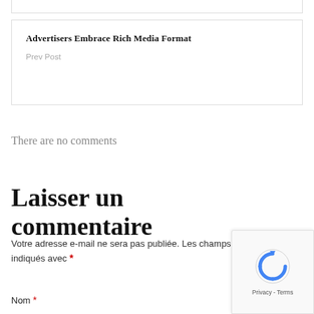Advertisers Embrace Rich Media Format
Prev Post
There are no comments
Laisser un commentaire
Votre adresse e-mail ne sera pas publiée. Les champs obligatoires sont indiqués avec *
Nom *